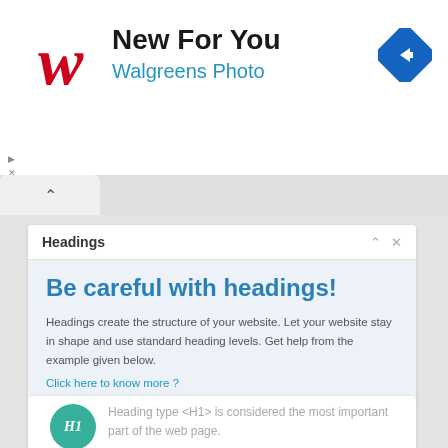[Figure (logo): Walgreens red cursive W logo]
New For You
Walgreens Photo
[Figure (other): Blue diamond navigation arrow icon]
Headings
Be careful with headings!
Headings create the structure of your website. Let your website stay in shape and use standard heading levels. Get help from the example given below.
Click here to know more ?
[Figure (infographic): Green circle badge with italic H1 label]
Heading type <H1> is considered the most important part of the web page.